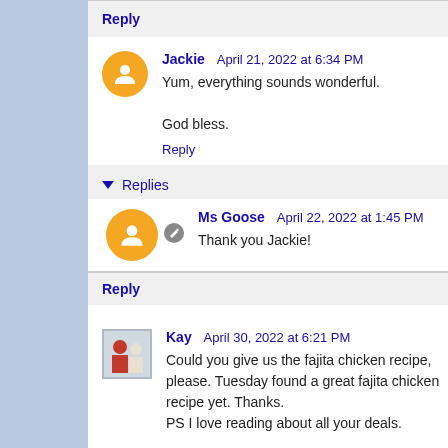Reply
Jackie  April 21, 2022 at 6:34 PM
Yum, everything sounds wonderful.

God bless.
Reply
Replies
Ms Goose  April 22, 2022 at 1:45 PM
Thank you Jackie!
Reply
Kay  April 30, 2022 at 6:21 PM
Could you give us the fajita chicken recipe, please. Tuesday found a great fajita chicken recipe yet. Thanks.
PS I love reading about all your deals.